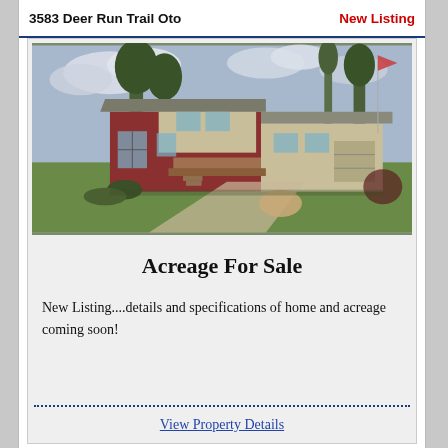3583 Deer Run Trail Oto  New Listing
[Figure (photo): Exterior photo of a ranch-style home with red and tan siding, green lawn, trees, and a driveway in the foreground.]
Acreage For Sale
New Listing....details and specifications of home and acreage coming soon!
View Property Details